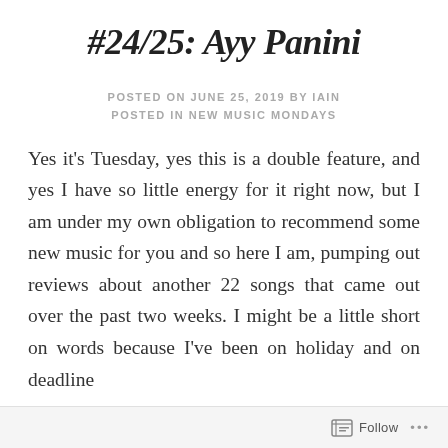#24/25: Ayy Panini
POSTED ON JUNE 25, 2019 BY IAIN
POSTED IN NEW MUSIC MONDAYS
Yes it's Tuesday, yes this is a double feature, and yes I have so little energy for it right now, but I am under my own obligation to recommend some new music for you and so here I am, pumping out reviews about another 22 songs that came out over the past two weeks. I might be a little short on words because I've been on holiday and on deadline
Follow ...